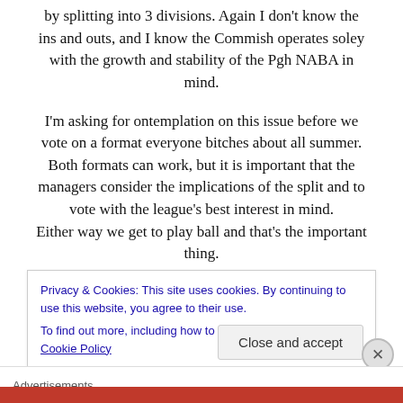by splitting into 3 divisions. Again I don't know the ins and outs, and I know the Commish operates soley with the growth and stability of the Pgh NABA in mind.
I'm asking for ontemplation on this issue before we vote on a format everyone bitches about all summer. Both formats can work, but it is important that the managers consider the implications of the split and to vote with the league's best interest in mind. Either way we get to play ball and that's the important thing.
Privacy & Cookies: This site uses cookies. By continuing to use this website, you agree to their use.
To find out more, including how to control cookies, see here: Cookie Policy
Close and accept
Advertisements